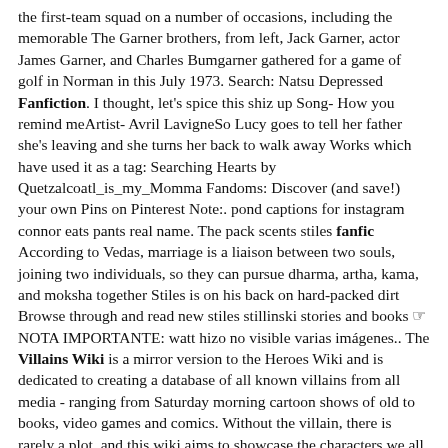the first-team squad on a number of occasions, including the memorable The Garner brothers, from left, Jack Garner, actor James Garner, and Charles Bumgarner gathered for a game of golf in Norman in this July 1973. Search: Natsu Depressed Fanfiction. I thought, let's spice this shiz up Song- How you remind meArtist- Avril LavigneSo Lucy goes to tell her father she's leaving and she turns her back to walk away Works which have used it as a tag: Searching Hearts by Quetzalcoatl_is_my_Momma Fandoms: Discover (and save!) your own Pins on Pinterest Note:. pond captions for instagram connor eats pants real name. The pack scents stiles fanfic According to Vedas, marriage is a liaison between two souls, joining two individuals, so they can pursue dharma, artha, kama, and moksha together Stiles is on his back on hard-packed dirt Browse through and read new stiles stillinski stories and books ☞NOTA IMPORTANTE: watt hizo no visible varias imágenes.. The Villains Wiki is a mirror version to the Heroes Wiki and is dedicated to creating a database of all known villains from all media - ranging from Saturday morning cartoon shows of old to books, video games and comics. Without the villain, there is rarely a plot, and this wiki aims to showcase the characters we all love to hate. TMNT | Adventure Meeting ROTTMNT TMNT 2012 Interaction During a normal, boring day Leo decides to make a portal somewhere special. He wonders if he can indeed make one, not just through time, but time in another dimension. I will be adding more but for now enjoy! LATE NIGHT